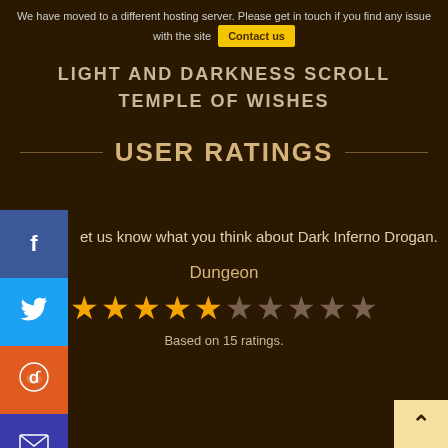We have moved to a different hosting server. Please get in touch if you find any issue with the site  Contact us
LIGHT AND DARKNESS SCROLL
TEMPLE OF WISHES
USER RATINGS
Let us know what you think about Dark Inferno Drogan.
Dungeon
[Figure (other): Star rating display: 5 filled gold stars and 5 empty dark stars, based on 15 ratings]
Based on 15 ratings.